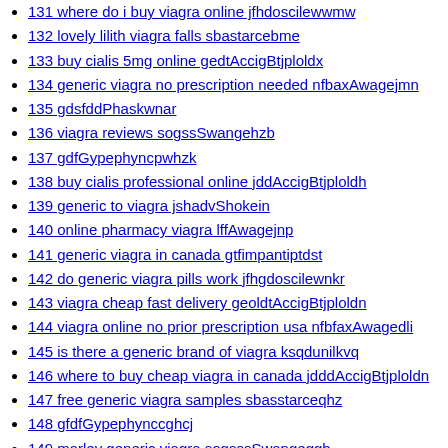131 where do i buy viagra online jfhdoscilewwmw
132 lovely lilith viagra falls sbastarcebme
133 buy cialis 5mg online gedtAccigBtjploldx
134 generic viagra no prescription needed nfbaxAwagejmn
135 gdsfddPhaskwnar
136 viagra reviews sogssSwangehzb
137 gdfGypephyncpwhzk
138 buy cialis professional online jddAccigBtjploldh
139 generic to viagra jshadvShokein
140 online pharmacy viagra lffAwagejnp
141 generic viagra in canada gtfimpantiptdst
142 do generic viagra pills work jfhgdoscilewnkr
143 viagra cheap fast delivery geoldtAccigBtjploldn
144 viagra online no prior prescription usa nfbfaxAwagedli
145 is there a generic brand of viagra ksqdunilkvq
146 where to buy cheap viagra in canada jdddAccigBtjploldn
147 free generic viagra samples sbasstarceqhz
148 gfdfGypephynccghcj
149 marley generic viagra sogsssSwangeggb
150 giodsfddPhaskarrq
151 viagra online canadian pharmacy lfdfAwageitw
152 when does viagra go generic in usa jbdvShokesp
153 buy viagra online usa gtfdimpantiptcvj
154 viagra online no prior prescription ksfqdunilkxz